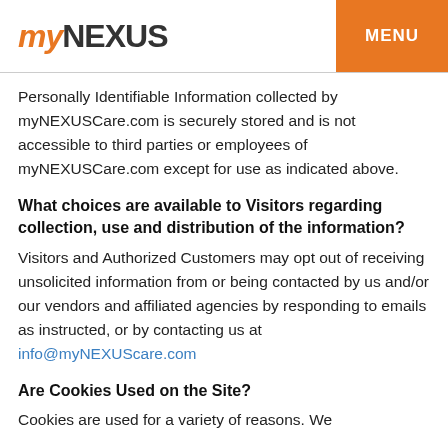myNEXUS  MENU
Personally Identifiable Information collected by myNEXUSCare.com is securely stored and is not accessible to third parties or employees of myNEXUSCare.com except for use as indicated above.
What choices are available to Visitors regarding collection, use and distribution of the information?
Visitors and Authorized Customers may opt out of receiving unsolicited information from or being contacted by us and/or our vendors and affiliated agencies by responding to emails as instructed, or by contacting us at info@myNEXUScare.com
Are Cookies Used on the Site?
Cookies are used for a variety of reasons. We